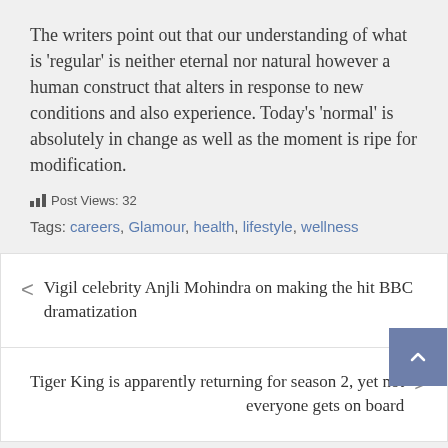The writers point out that our understanding of what is ‘regular’ is neither eternal nor natural however a human construct that alters in response to new conditions and also experience. Today’s ‘normal’ is absolutely in change as well as the moment is ripe for modification.
Post Views: 32
Tags: careers, Glamour, health, lifestyle, wellness
< Vigil celebrity Anjli Mohindra on making the hit BBC dramatization
Tiger King is apparently returning for season 2, yet not everyone gets on board >